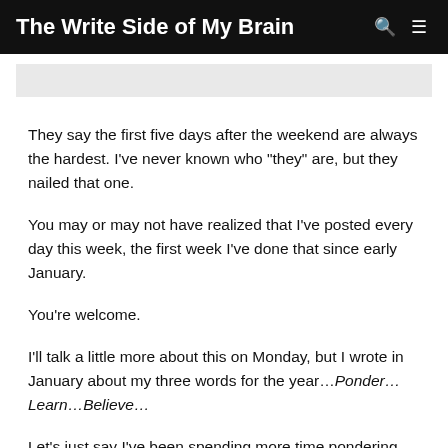The Write Side of My Brain
They say the first five days after the weekend are always the hardest. I've never known who “they” are, but they nailed that one.
You may or may not have realized that I've posted every day this week, the first week I've done that since early January.
You’re welcome.
I'll talk a little more about this on Monday, but I wrote in January about my three words for the year…Ponder…Learn…Believe…
Let’s just say I’ve been spending more time pondering what I write about than I have been doing the actual